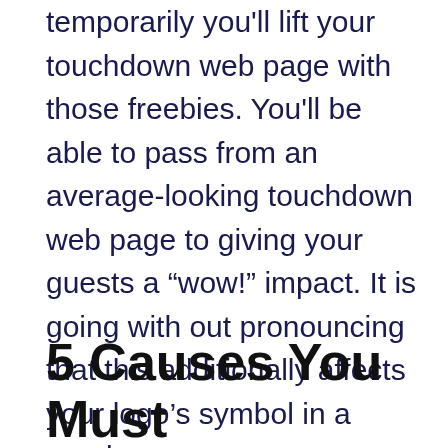temporarily you'll lift your touchdown web page with those freebies. You'll be able to pass from an average-looking touchdown web page to giving your guests a “wow!” impact. It is going with out pronouncing that this additionally affects your logo’s symbol in a good means.
5 Causes You Must